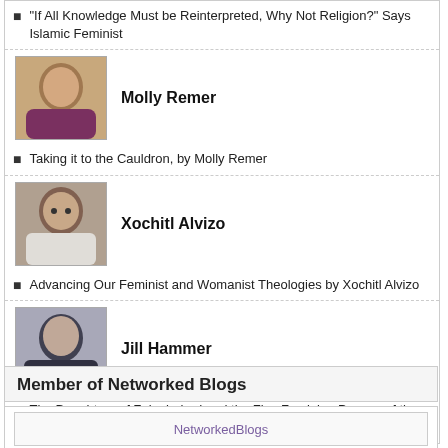"If All Knowledge Must be Reinterpreted, Why Not Religion?" Says Islamic Feminist
[Figure (photo): Photo of Molly Remer]
Molly Remer
Taking it to the Cauldron, by Molly Remer
[Figure (photo): Photo of Xochitl Alvizo]
Xochitl Alvizo
Advancing Our Feminist and Womanist Theologies by Xochitl Alvizo
[Figure (photo): Photo of Jill Hammer]
Jill Hammer
The Daughters of Zelophehad and the Five Feminine Powers of the Kabbalah by Rabbi Jill Hammer
Member of Networked Blogs
[Figure (logo): NetworkedBlogs logo placeholder]